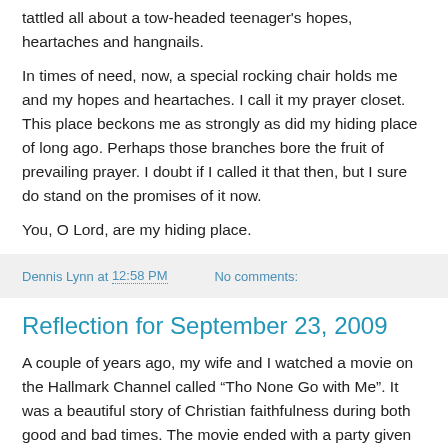tattled all about a tow-headed teenager's hopes, heartaches and hangnails.
In times of need, now, a special rocking chair holds me and my hopes and heartaches. I call it my prayer closet. This place beckons me as strongly as did my hiding place of long ago. Perhaps those branches bore the fruit of prevailing prayer. I doubt if I called it that then, but I sure do stand on the promises of it now.
You, O Lord, are my hiding place.
Dennis Lynn at 12:58 PM   No comments:
Reflection for September 23, 2009
A couple of years ago, my wife and I watched a movie on the Hallmark Channel called “Tho None Go with Me”. It was a beautiful story of Christian faithfulness during both good and bad times. The movie ended with a party given to celebrate